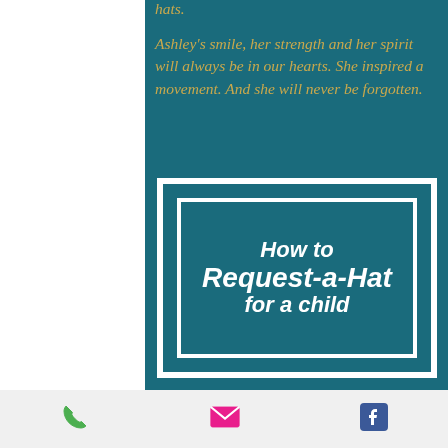hats.
Ashley's smile, her strength and her spirit will always be in our hearts. She inspired a movement. And she will never be forgotten.
[Figure (infographic): A box with white border containing the text 'How to Request-a-Hat for a child' in bold italic white text on a teal background]
Phone icon, Email icon, Facebook icon